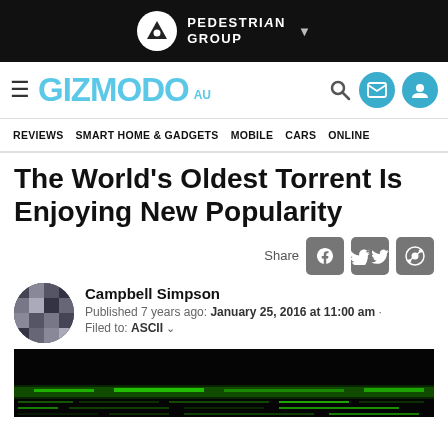PEDESTRIAN GROUP
GIZMODO AU — navigation: REVIEWS, SMART HOME & GADGETS, MOBILE, CARS, ONLINE
The World's Oldest Torrent Is Enjoying New Popularity
Share
Campbell Simpson
Published 7 years ago: January 25, 2016 at 11:00 am · Filed to: ASCII
[Figure (screenshot): Dark hero image with green matrix-like text lines at bottom, suggesting a torrent/hacking theme]